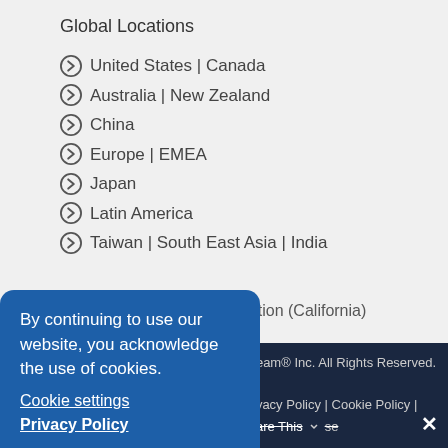Global Locations
United States | Canada
Australia | New Zealand
China
Europe | EMEA
Japan
Latin America
Taiwan | South East Asia | India
By continuing to use our website, you acknowledge the use of cookies.
Cookie settings
Privacy Policy
X
nation (California)
oBeam® Inc. All Rights Reserved. | Privacy Policy | Cookie Policy | Share This Close